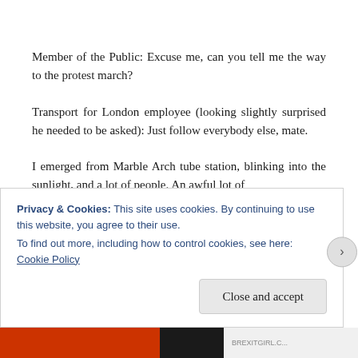Member of the Public: Excuse me, can you tell me the way to the protest march?
Transport for London employee (looking slightly surprised he needed to be asked): Just follow everybody else, mate.
I emerged from Marble Arch tube station, blinking into the sunlight, and a lot of people. An awful lot of
Privacy & Cookies: This site uses cookies. By continuing to use this website, you agree to their use.
To find out more, including how to control cookies, see here: Cookie Policy
Close and accept